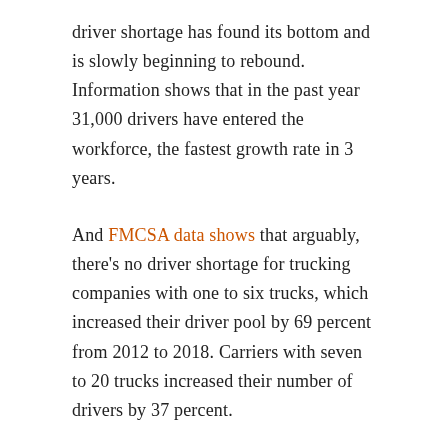driver shortage has found its bottom and is slowly beginning to rebound. Information shows that in the past year 31,000 drivers have entered the workforce, the fastest growth rate in 3 years.
And FMCSA data shows that arguably, there's no driver shortage for trucking companies with one to six trucks, which increased their driver pool by 69 percent from 2012 to 2018. Carriers with seven to 20 trucks increased their number of drivers by 37 percent.
Small trucking companies are adding drivers at an extremely fast rate. They have aggressively raised pay, promise a better working